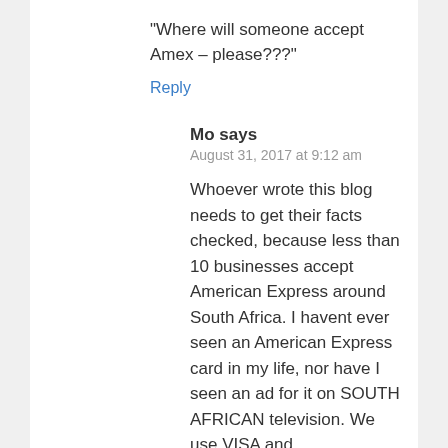“Where will someone accept Amex – please???”
Reply
Mo says
August 31, 2017 at 9:12 am
Whoever wrote this blog needs to get their facts checked, because less than 10 businesses accept American Express around South Africa. I havent ever seen an American Express card in my life, nor have I seen an ad for it on SOUTH AFRICAN television. We use VISA and MASTERCARD…
Reply